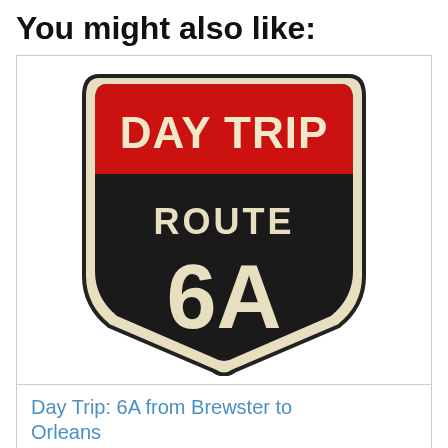You might also like:
[Figure (logo): Day Trip Route 6A shield logo — a US highway-style shield badge with a red banner at top reading DAY TRIP in white bold text, and a black shield body reading ROUTE 6A in large cream/white letters, outlined in cream/beige.]
Day Trip: 6A from Brewster to Orleans
Part two of our trip down Old King's Highway reveals the gems along that off-season road between Brew...